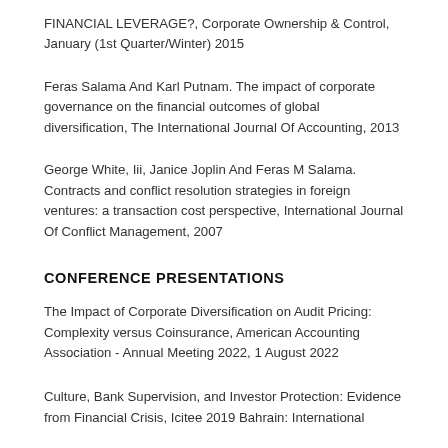FINANCIAL LEVERAGE?, Corporate Ownership & Control, January (1st Quarter/Winter) 2015
Feras Salama And Karl Putnam. The impact of corporate governance on the financial outcomes of global diversification, The International Journal Of Accounting, 2013
George White, Iii, Janice Joplin And Feras M Salama. Contracts and conflict resolution strategies in foreign ventures: a transaction cost perspective, International Journal Of Conflict Management, 2007
CONFERENCE PRESENTATIONS
The Impact of Corporate Diversification on Audit Pricing: Complexity versus Coinsurance, American Accounting Association - Annual Meeting 2022, 1 August 2022
Culture, Bank Supervision, and Investor Protection: Evidence from Financial Crisis, Icitee 2019 Bahrain: International